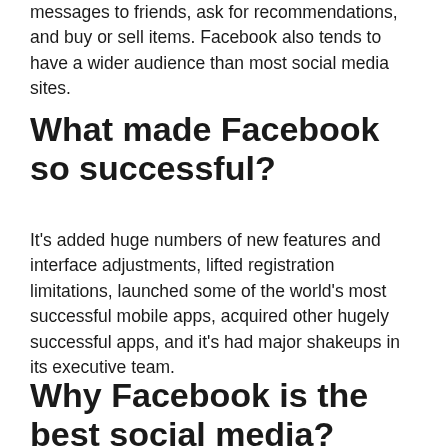messages to friends, ask for recommendations, and buy or sell items. Facebook also tends to have a wider audience than most social media sites.
What made Facebook so successful?
It’s added huge numbers of new features and interface adjustments, lifted registration limitations, launched some of the world’s most successful mobile apps, acquired other hugely successful apps, and it’s had major shakeups in its executive team.
Why Facebook is the best social media?